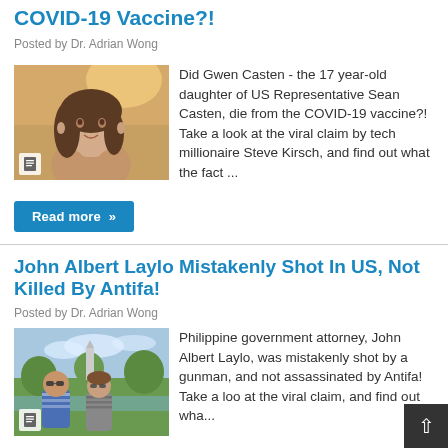COVID-19 Vaccine?!
Posted by Dr. Adrian Wong
[Figure (photo): Portrait photo of a young woman with brown hair, warm sunlit background, with a document icon overlay at bottom left]
Did Gwen Casten - the 17 year-old daughter of US Representative Sean Casten, die from the COVID-19 vaccine?! Take a look at the viral claim by tech millionaire Steve Kirsch, and find out what the fact ...
Read more »
John Albert Laylo Mistakenly Shot In US, Not Killed By Antifa!
Posted by Dr. Adrian Wong
[Figure (photo): Outdoor photo of two people posing near a body of water with a monument in the background, blue and striped shirts, with a document icon overlay at bottom left]
Philippine government attorney, John Albert Laylo, was mistakenly shot by a gunman, and not assassinated by Antifa! Take a look at the viral claim, and find out wha...